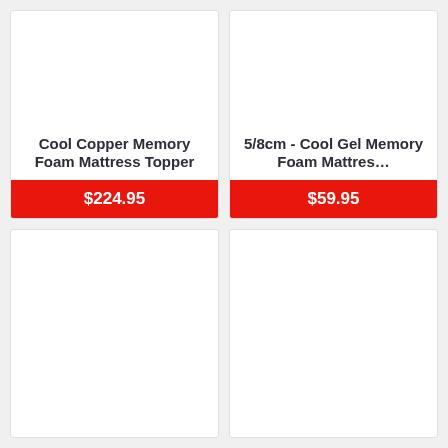Cool Copper Memory Foam Mattress Topper
$224.95
5/8cm - Cool Gel Memory Foam Mattres…
$59.95